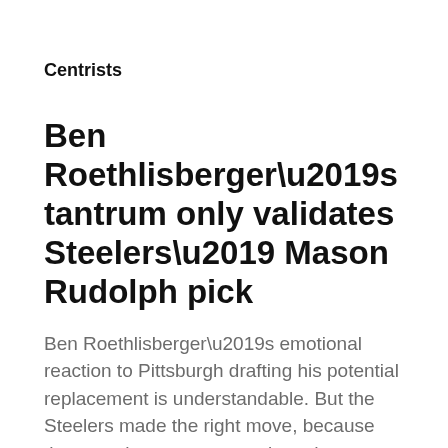Centrists
Ben Roethlisberger’s tantrum only validates Steelers’ Mason Rudolph pick
Ben Roethlisberger’s emotional reaction to Pittsburgh drafting his potential replacement is understandable. But the Steelers made the right move, because they now have a more motivated veteran quarterback